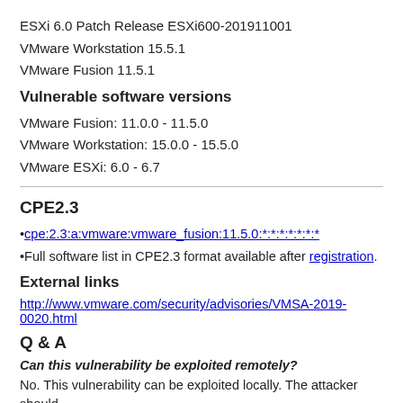ESXi 6.0 Patch Release ESXi600-201911001
VMware Workstation 15.5.1
VMware Fusion 11.5.1
Vulnerable software versions
VMware Fusion: 11.0.0 - 11.5.0
VMware Workstation: 15.0.0 - 15.5.0
VMware ESXi: 6.0 - 6.7
CPE2.3
cpe:2.3:a:vmware:vmware_fusion:11.5.0:*:*:*:*:*:*:*
Full software list in CPE2.3 format available after registration.
External links
http://www.vmware.com/security/advisories/VMSA-2019-0020.html
Q & A
Can this vulnerability be exploited remotely?
No. This vulnerability can be exploited locally. The attacker should